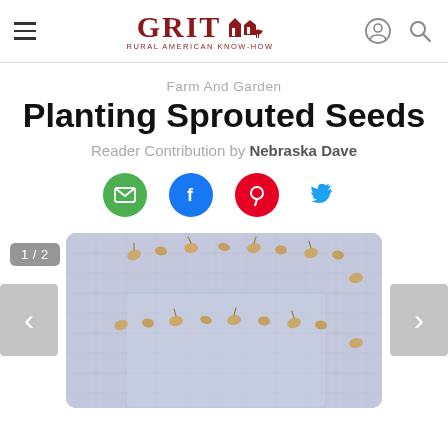GRIT — Rural American Know-How
Farm And Garden
Planting Sprouted Seeds
Reader Contribution by Nebraska Dave
[Figure (photo): Photo of sprouted seeds arranged on a damp paper towel or cloth, viewed from above, showing small tan/beige seeds with tiny sprouts emerging.]